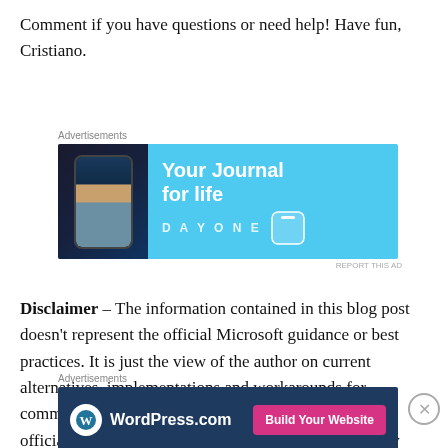Comment if you have questions or need help! Have fun, Cristiano.
[Figure (other): Advertisement banner for DayOne journal app — light blue background with phone image on left, text 'Your Journal for life' and DAYONE branding on right]
Disclaimer – The information contained in this blog post doesn't represent the official Microsoft guidance or best practices. It is just the view of the author on current alternatives, implementations and workarounds for common issues and/or business needs. Please refer to official Microsoft documentation and evaluate carefully any steps, code or procedures documented herein. The author
[Figure (other): Advertisement banner for WordPress.com — dark navy background with WordPress logo and 'Build Your Website' pink button]